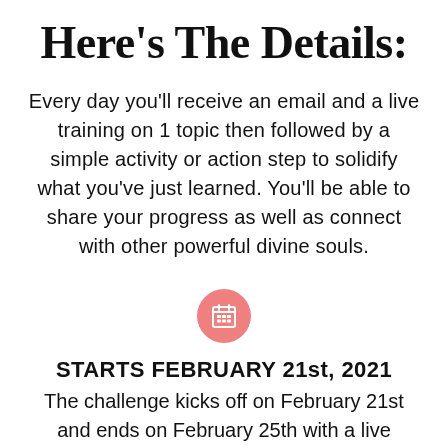Here's The Details:
Every day you'll receive an email and a live training on 1 topic then followed by a simple activity or action step to solidify what you've just learned. You'll be able to share your progress as well as connect with other powerful divine souls.
[Figure (illustration): Pink circle icon with a calendar/grid symbol in white]
STARTS FEBRUARY 21st, 2021
The challenge kicks off on February 21st and ends on February 25th with a live masterclass!